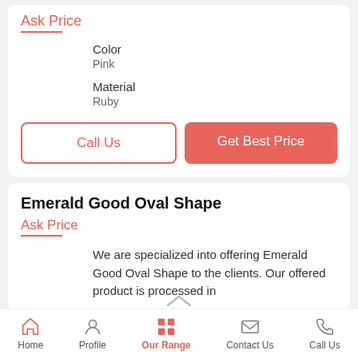Ask Price
Color
Pink
Material
Ruby
Call Us
Get Best Price
Emerald Good Oval Shape
Ask Price
We are specialized into offering Emerald Good Oval Shape to the clients. Our offered product is processed in
Home  Profile  Our Range  Contact Us  Call Us